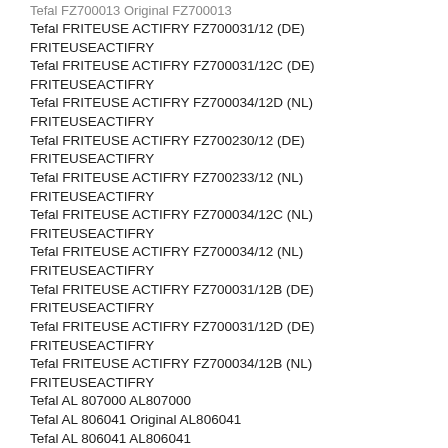Tefal FZ700015 Original FZ700015
Tefal FRITEUSE ACTIFRY FZ700031/12 (DE) FRITEUSEACTIFRY
Tefal FRITEUSE ACTIFRY FZ700031/12C (DE) FRITEUSEACTIFRY
Tefal FRITEUSE ACTIFRY FZ700034/12D (NL) FRITEUSEACTIFRY
Tefal FRITEUSE ACTIFRY FZ700230/12 (DE) FRITEUSEACTIFRY
Tefal FRITEUSE ACTIFRY FZ700233/12 (NL) FRITEUSEACTIFRY
Tefal FRITEUSE ACTIFRY FZ700034/12C (NL) FRITEUSEACTIFRY
Tefal FRITEUSE ACTIFRY FZ700034/12 (NL) FRITEUSEACTIFRY
Tefal FRITEUSE ACTIFRY FZ700031/12B (DE) FRITEUSEACTIFRY
Tefal FRITEUSE ACTIFRY FZ700031/12D (DE) FRITEUSEACTIFRY
Tefal FRITEUSE ACTIFRY FZ700034/12B (NL) FRITEUSEACTIFRY
Tefal AL 807000 AL807000
Tefal AL 806041 Original AL806041
Tefal AL 806041 AL806041
Tefal AL 806040 AL806040
Tefal AL 806000 AL806000